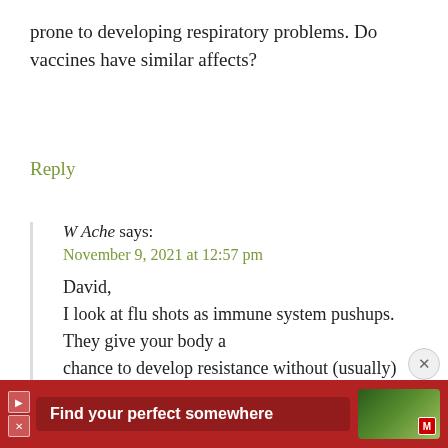prone to developing respiratory problems. Do vaccines have similar affects?
Reply
W Ache says:
November 9, 2021 at 12:57 pm
David,
I look at flu shots as immune system pushups. They give your body a chance to develop resistance without (usually) overwhelming it.
W Ache
[Figure (other): Advertisement banner with red background showing text 'Find your perfect somewhere' with a scenic outdoor image thumbnail and media controls]